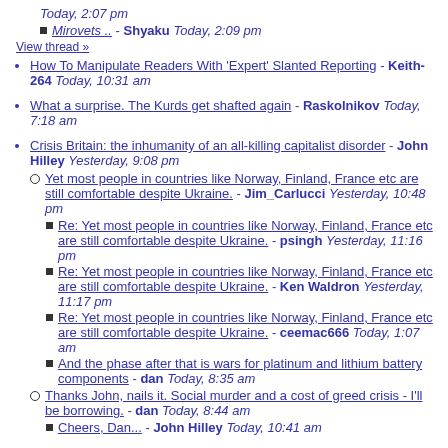Today, 2:07 pm
  Mirovets .. - Shyaku Today, 2:09 pm
View thread »
How To Manipulate Readers With 'Expert' Slanted Reporting - Keith-264 Today, 10:31 am
What a surprise. The Kurds get shafted again - Raskolnikov Today, 7:18 am
Crisis Britain: the inhumanity of an all-killing capitalist disorder - John Hilley Yesterday, 9:08 pm
  Yet most people in countries like Norway, Finland, France etc are still comfortable despite Ukraine. - Jim_Carlucci Yesterday, 10:48 pm
    Re: Yet most people in countries like Norway, Finland, France etc are still comfortable despite Ukraine. - psingh Yesterday, 11:16 pm
    Re: Yet most people in countries like Norway, Finland, France etc are still comfortable despite Ukraine. - Ken Waldron Yesterday, 11:17 pm
    Re: Yet most people in countries like Norway, Finland, France etc are still comfortable despite Ukraine. - ceemac666 Today, 1:07 am
    And the phase after that is wars for platinum and lithium battery components - dan Today, 8:35 am
  Thanks John, nails it. Social murder and a cost of greed crisis - I'll be borrowing. - dan Today, 8:44 am
    Cheers, Dan... - John Hilley Today, 10:41 am